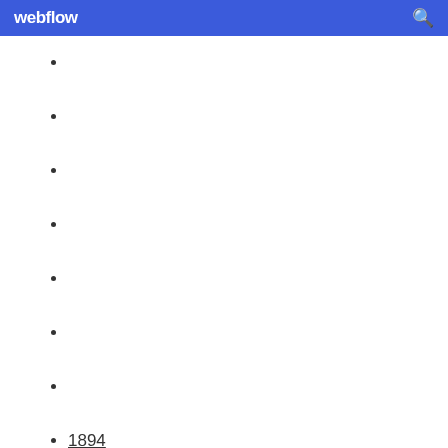webflow
1894
1054
618
1276
1494
1187